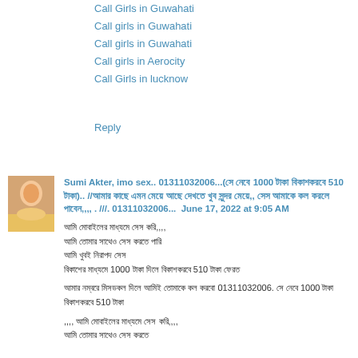Call Girls in Guwahati
Call girls in Guwahati
Call girls in Guwahati
Call girls in Aerocity
Call Girls in lucknow
Reply
Sumi Akter, imo sex.. 01311032006...(সে নেবে 1000 টাকা বিকাশকরবে 510 টাকা).. //আমার কাছে এমন মেয়ে আছে দেখতে খুব সুন্দর মেয়ে,, সেস আমাকে কল করলে পাবেন,,,, . ///. 01311032006...  June 17, 2022 at 9:05 AM
আমি মোবাইলের মাধ্যমে সেস করি,,,,
আমি তোমার সাথেও সেস করতে পারি
আমি খুবই নিরাপদ সেস
বিকাশের মাধ্যমে 1000 টাকা দিলে বিকাশকরবে 510 টাকা ফেরত

আমার নম্বরে মিসডকল দিলে আমিই তোমাকে কল করবো 01311032006. সে নেবে 1000 টাকা বিকাশকরবে 510 টাকা

,,,, আমি মোবাইলের মাধ্যমে সেস করি,,,,
আমি তোমার সাথেও সেস করতে